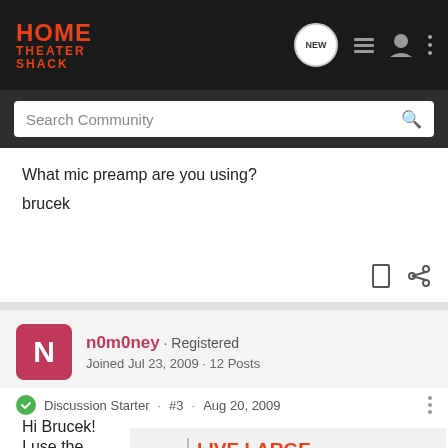HOME THEATER SHACK
What mic preamp are you using?
brucek
n0m0ney · Registered
Joined Jul 23, 2009 · 12 Posts
Discussion Starter · #3 · Aug 20, 2009
Hi Brucek!
I use the ... had any issues w...
[Figure (screenshot): TCL advertisement banner: LIVE LARGE. Big screens up to 98" SHOP NOW]